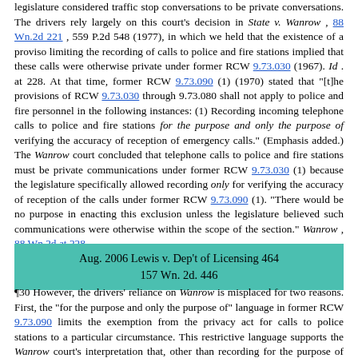legislature considered traffic stop conversations to be private conversations. The drivers rely largely on this court's decision in State v. Wanrow , 88 Wn.2d 221 , 559 P.2d 548 (1977), in which we held that the existence of a proviso limiting the recording of calls to police and fire stations implied that these calls were otherwise private under former RCW 9.73.030 (1967). Id . at 228. At that time, former RCW 9.73.090 (1) (1970) stated that "[t]he provisions of RCW 9.73.030 through 9.73.080 shall not apply to police and fire personnel in the following instances: (1) Recording incoming telephone calls to police and fire stations for the purpose and only the purpose of verifying the accuracy of reception of emergency calls." (Emphasis added.) The Wanrow court concluded that telephone calls to police and fire stations must be private communications under former RCW 9.73.030 (1) because the legislature specifically allowed recording only for verifying the accuracy of reception of the calls under former RCW 9.73.090 (1). "There would be no purpose in enacting this exclusion unless the legislature believed such communications were otherwise within the scope of the section." Wanrow , 88 Wn.2d at 228 .
Aug. 2006 Lewis v. Dep't of Licensing 464
157 Wn. 2d. 446
¶30 However, the drivers' reliance on Wanrow is misplaced for two reasons. First, the "for the purpose and only the purpose of" language in former RCW 9.73.090 limits the exemption from the privacy act for calls to police stations to a particular circumstance. This restrictive language supports the Wanrow court's interpretation that, other than recording for the purpose of verifying